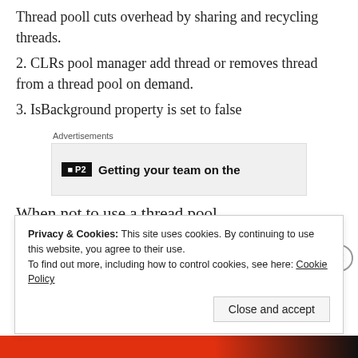Thread pooll cuts overhead by sharing and recycling threads.
2. CLRs pool manager add thread or removes thread from a thread pool on demand.
3. IsBackground property is set to false
[Figure (other): Advertisements banner showing P2 logo and text 'Getting your team on the']
When not to use a thread pool
1. When we need foreground thread
Privacy & Cookies: This site uses cookies. By continuing to use this website, you agree to their use.
To find out more, including how to control cookies, see here: Cookie Policy
Close and accept